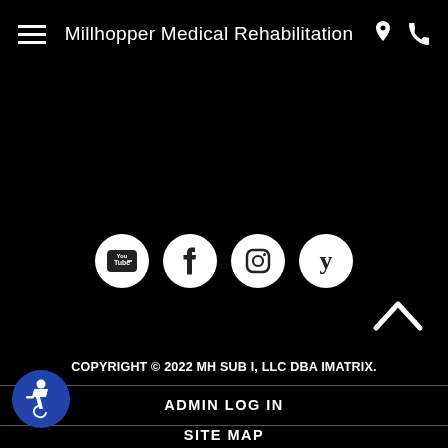Millhopper Medical Rehabilitation
[Figure (other): Social media icons row: YouTube, Facebook, Instagram, Yelp — white circles on black background]
[Figure (other): Back to top chevron arrow icon]
COPYRIGHT © 2022 MH SUB I, LLC DBA IMATRIX.
ADMIN LOG IN
SITE MAP
[Figure (logo): Accessibility wheelchair icon — blue circle with white wheelchair symbol]